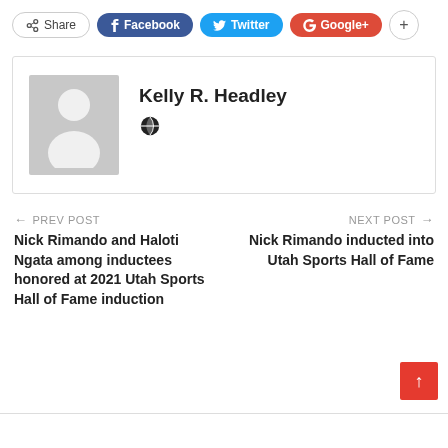[Figure (other): Social share bar with Share, Facebook, Twitter, Google+, and + buttons]
[Figure (other): Author profile box with avatar placeholder and name Kelly R. Headley with globe icon]
Kelly R. Headley
← PREV POST
Nick Rimando and Haloti Ngata among inductees honored at 2021 Utah Sports Hall of Fame induction
NEXT POST →
Nick Rimando inducted into Utah Sports Hall of Fame